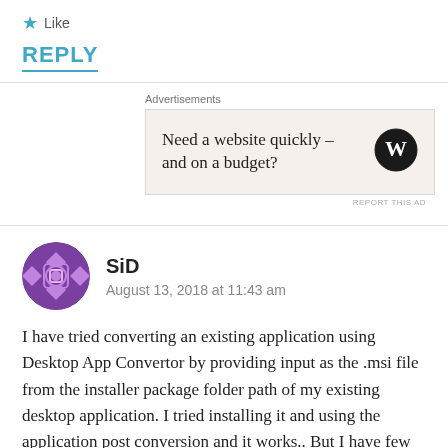★ Like
REPLY
[Figure (screenshot): Advertisement box with text 'Need a website quickly – and on a budget?' and WordPress logo]
SiD
August 13, 2018 at 11:43 am
I have tried converting an existing application using Desktop App Convertor by providing input as the .msi file from the installer package folder path of my existing desktop application. I tried installing it and using the application post conversion and it works.. But I have few questions below.